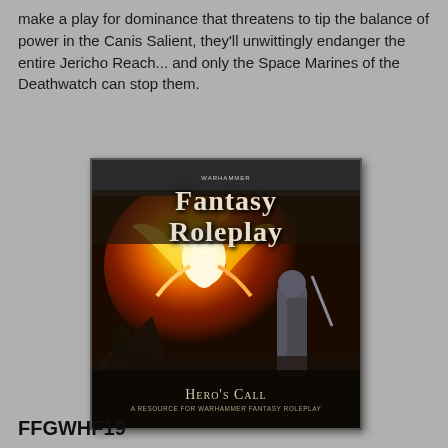make a play for dominance that threatens to tip the balance of power in the Canis Salient, they'll unwittingly endanger the entire Jericho Reach... and only the Space Marines of the Deathwatch can stop them.
[Figure (photo): Book cover of 'Hero's Call: A Resource for Warhammer Fantasy Roleplay' showing a glowing angelic or phoenix-like figure rising in flames against a dark fantasy battlefield background, with the 'Fantasy Roleplay' logo at top.]
FFGWHF19